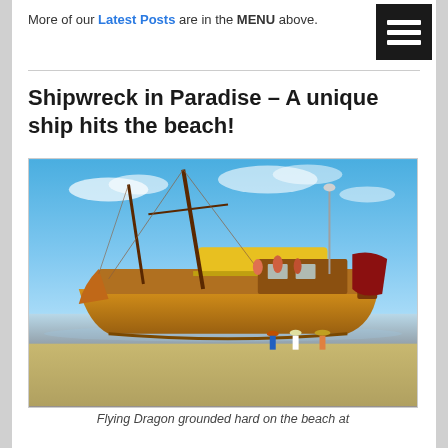More of our Latest Posts are in the MENU above.
Shipwreck in Paradise – A unique ship hits the beach!
[Figure (photo): A large wooden sailing ship with two masts, painted yellow and brown with a yellow canopy on deck, grounded on a sandy beach. People are visible on the deck and standing around the ship on the wet sand. Blue sky with wispy clouds in the background.]
Flying Dragon grounded hard on the beach at